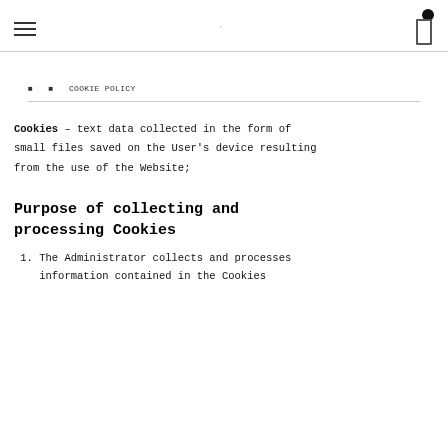≡  [icon] [menu icon]
⌂  › COOKIE POLICY
Cookies – text data collected in the form of small files saved on the User's device resulting from the use of the Website;
Purpose of collecting and processing Cookies
1. The Administrator collects and processes information contained in the Cookies